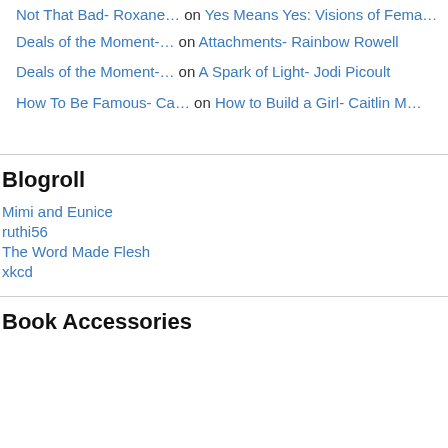Not That Bad- Roxane… on Yes Means Yes: Visions of Fema…
Deals of the Moment-… on Attachments- Rainbow Rowell
Deals of the Moment-… on A Spark of Light- Jodi Picoult
How To Be Famous- Ca… on How to Build a Girl- Caitlin M…
Blogroll
Mimi and Eunice
ruthi56
The Word Made Flesh
xkcd
Book Accessories